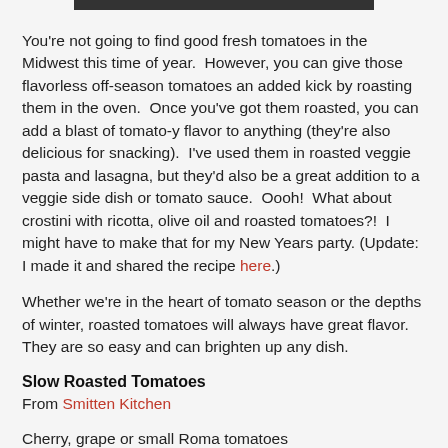[Figure (photo): Top portion of an image, partially visible — appears to be a dark bar/edge of a food photo]
You're not going to find good fresh tomatoes in the Midwest this time of year.  However, you can give those flavorless off-season tomatoes an added kick by roasting them in the oven.  Once you've got them roasted, you can add a blast of tomato-y flavor to anything (they're also delicious for snacking).  I've used them in roasted veggie pasta and lasagna, but they'd also be a great addition to a veggie side dish or tomato sauce.  Oooh!  What about crostini with ricotta, olive oil and roasted tomatoes?!  I might have to make that for my New Years party. (Update: I made it and shared the recipe here.)
Whether we're in the heart of tomato season or the depths of winter, roasted tomatoes will always have great flavor.  They are so easy and can brighten up any dish.
Slow Roasted Tomatoes
From Smitten Kitchen
Cherry, grape or small Roma tomatoes